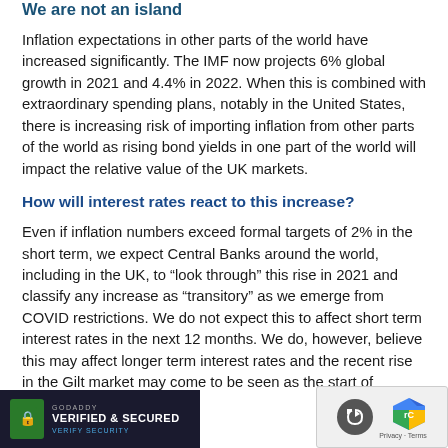We are not an island
Inflation expectations in other parts of the world have increased significantly. The IMF now projects 6% global growth in 2021 and 4.4% in 2022. When this is combined with extraordinary spending plans, notably in the United States, there is increasing risk of importing inflation from other parts of the world as rising bond yields in one part of the world will impact the relative value of the UK markets.
How will interest rates react to this increase?
Even if inflation numbers exceed formal targets of 2% in the short term, we expect Central Banks around the world, including in the UK, to “look through” this rise in 2021 and classify any increase as “transitory” as we emerge from COVID restrictions. We do not expect this to affect short term interest rates in the next 12 months. We do, however, believe this may affect longer term interest rates and the recent rise in the Gilt market may come to be seen as the start of